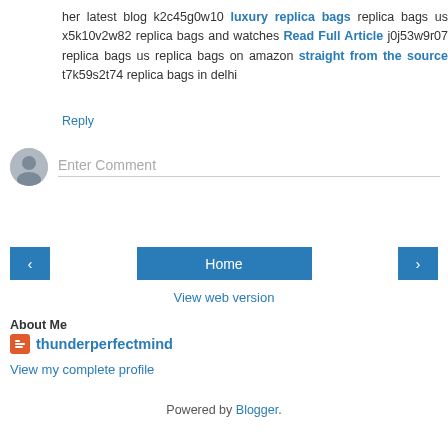her latest blog k2c45g0w10 luxury replica bags replica bags us x5k10v2w82 replica bags and watches Read Full Article j0j53w9r07 replica bags us replica bags on amazon straight from the source t7k59s2t74 replica bags in delhi
Reply
[Figure (other): Enter Comment input area with avatar icon]
[Figure (other): Navigation bar with left arrow, Home button, right arrow]
View web version
About Me
thunderperfectmind
View my complete profile
Powered by Blogger.